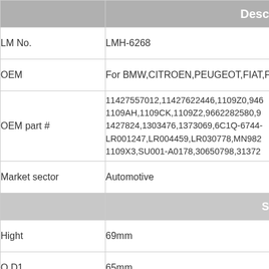|  | Desc... |
| --- | --- |
| LM No. | LMH-6268 |
| OEM | For BMW,CITROEN,PEUGEOT,FIAT,FO... |
| OEM part # | 11427557012,11427622446,1109Z0,946...
1109AH,1109CK,1109Z2,9662282580,9...
1427824,1303476,1373069,6C1Q-6744-...
LR001247,LR004459,LR030778,MN982...
1109X3,SU001-A0178,30650798,31372... |
| Market sector | Automotive |
|  | S... |
| Hight | 69mm |
| O.D1 | 65mm |
| O.D2 | mm |
| I.D1 | 24mm |